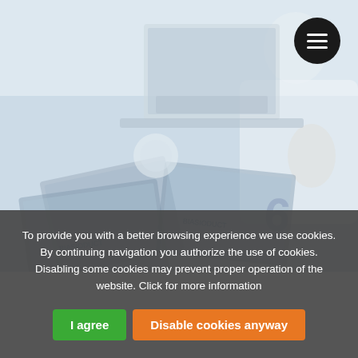[Figure (photo): Background photo showing a desk workspace with a laptop, printed catalogs/brochures from BIASIODUCT brand scattered on the surface, and a person in a white shirt gesturing. The image has a light, washed-out blue-grey tone.]
To provide you with a better browsing experience we use cookies. By continuing navigation you authorize the use of cookies. Disabling some cookies may prevent proper operation of the website. Click for more information
I agree
Disable cookies anyway